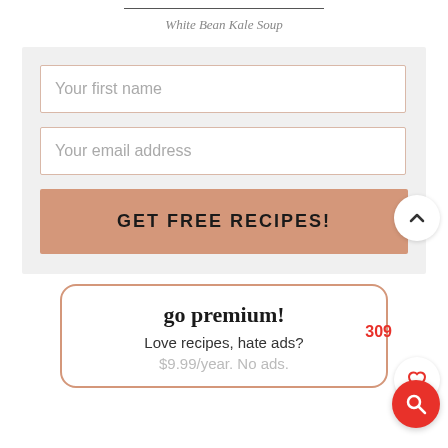White Bean Kale Soup
Your first name
Your email address
GET FREE RECIPES!
309
go premium!
Love recipes, hate ads?
$9.99/year. No ads.